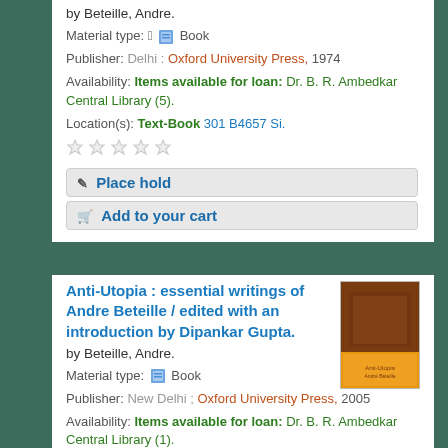by Beteille, Andre.
Material type: Book
Publisher: Delhi : Oxford University Press, 1974
Availability: Items available for loan: Dr. B. R. Ambedkar Central Library (5).
Location(s): Text-Book 301 B4657 Si.
Place hold
Add to your cart
Anti-Utopia : essential writings of Andre Beteille / edited with an introduction by Dipankar Gupta.
[Figure (photo): Book cover of Anti-Utopia showing orange and brown design]
by Beteille, Andre.
Material type: Book
Publisher: New Delhi ; Oxford University Press, 2005
Availability: Items available for loan: Dr. B. R. Ambedkar Central Library (1).
Location(s): Text-Book 301 B4653 An.